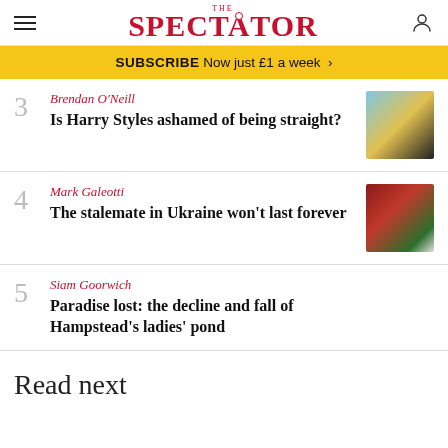THE SPECTATOR
SUBSCRIBE Now just £1 a week >
3 Brendan O'Neill — Is Harry Styles ashamed of being straight?
4 Mark Galeotti — The stalemate in Ukraine won't last forever
5 Siam Goorwich — Paradise lost: the decline and fall of Hampstead's ladies' pond
Read next